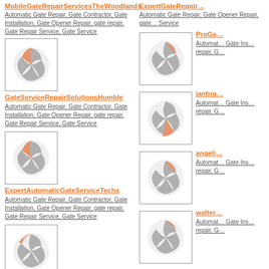MobileGateRepairServicesTheWoodlands
Automatic Gate Repair, Gate Contractor, Gate Installation, Gate Opener Repair, gate repair, Gate Repair Service, Gate Service
[Figure (logo): Circular logo with gray and salmon/orange swoosh shapes]
GateServiceRepairSolutionsHumble
Automatic Gate Repair, Gate Contractor, Gate Installation, Gate Opener Repair, gate repair, Gate Repair Service, Gate Service
[Figure (logo): Circular logo with gray and salmon/orange swoosh shapes]
ExpertAutomaticGateServiceTechs
Automatic Gate Repair, Gate Contractor, Gate Installation, Gate Opener Repair, gate repair, Gate Repair Service, Gate Service
[Figure (logo): Circular logo with gray and salmon/orange swoosh shapes]
DrivewayGateRepairServiceSpecialists
Automatic Gate Repair, Gate Contractor, Gate Installation, Gate Opener Repair, gate repair, Gate Repair Service, Gate
ExpertGateRepair...
Automatic Gate Repair, Gate Opener Repair, gate... Service
ProGa...
Automat... Gate Ins... repair, G...
janbra...
Automat... Gate Ins... repair, G...
angeli...
Automat... Gate Ins... repair, G...
walter...
Automat... Gate Ins... repair, G...